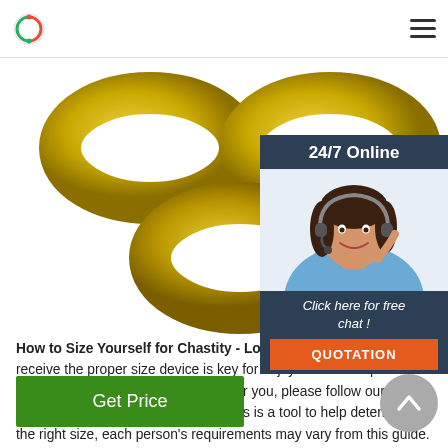Logo and navigation menu
[Figure (photo): Yellow chain links device on white background, cropped from top]
[Figure (photo): 24/7 Online overlay box with female customer service agent wearing headset, smiling. Includes 'Click here for free chat!' text and orange QUOTATION button]
How to Size Yourself for Chastity - Locked in Lust Ensuring you receive the proper size device is key for enjoyment. To help determine what size(s) would work for you, please follow our short guide below. Please keep in mind, this is a tool to help determine the right size, each person's requirements may vary from this guide. We [...]
[Figure (photo): Get Price green button]
[Figure (photo): Black ring product partially visible at bottom of page]